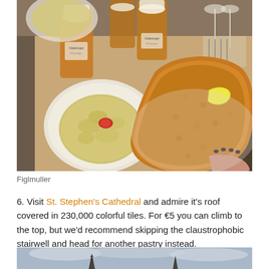[Figure (photo): Restaurant table with a large Wiener Schnitzel on a plate with a lemon wedge, a bowl of potato salad with tomato garnish on a Figlmuller branded plate, two glasses of amber beer with Ottakringer branding, and other dishes in the background. A person's hand is visible in the bottom right corner.]
Figlmuller
6. Visit St. Stephen's Cathedral and admire it's roof covered in 230,000 colorful tiles. For €5 you can climb to the top, but we'd recommend skipping the claustrophobic stairwell and head for another pastry instead.
[Figure (photo): Bottom portion of a photo showing St. Stephen's Cathedral spires against a cloudy sky, partially visible at the bottom of the page.]